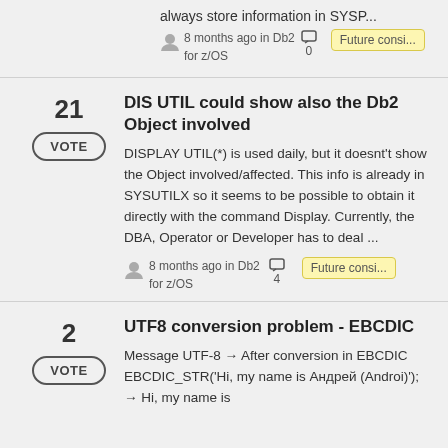always store information in SYSP...
8 months ago in Db2 for z/OS  □ 0  Future consi...
21
DIS UTIL could show also the Db2 Object involved
DISPLAY UTIL(*) is used daily, but it doesnt't show the Object involved/affected. This info is already in SYSUTILX so it seems to be possible to obtain it directly with the command Display. Currently, the DBA, Operator or Developer has to deal ...
8 months ago in Db2 for z/OS  □ 4  Future consi...
2
UTF8 conversion problem - EBCDIC
Message UTF-8 → After conversion in EBCDIC EBCDIC_STR('Hi, my name is Андрей (Androi)'); → Hi, my name is